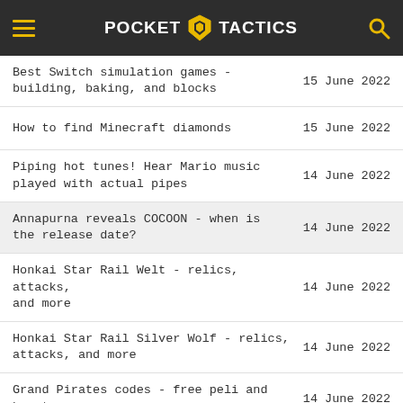POCKET TACTICS
Best Switch simulation games - building, baking, and blocks | 15 June 2022
How to find Minecraft diamonds | 15 June 2022
Piping hot tunes! Hear Mario music played with actual pipes | 14 June 2022
Annapurna reveals COCOON - when is the release date? | 14 June 2022
Honkai Star Rail Welt - relics, attacks, and more | 14 June 2022
Honkai Star Rail Silver Wolf - relics, attacks, and more | 14 June 2022
Grand Pirates codes - free peli and boosts | 14 June 2022
Recruit some mech girls in Artery Gear: Fusion | 14 June 2022